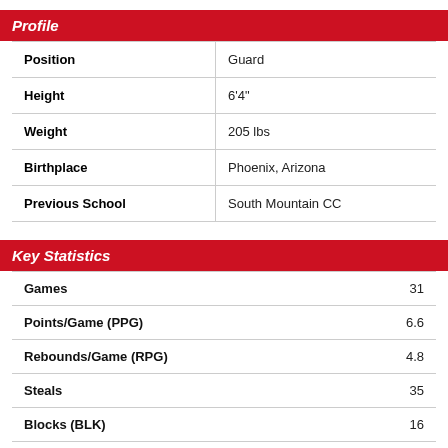Profile
| Position | Guard |
| Height | 6'4" |
| Weight | 205 lbs |
| Birthplace | Phoenix, Arizona |
| Previous School | South Mountain CC |
Key Statistics
| Games | 31 |
| Points/Game (PPG) | 6.6 |
| Rebounds/Game (RPG) | 4.8 |
| Steals | 35 |
| Blocks (BLK) | 16 |
| Assists/Game (APG) | 2 |